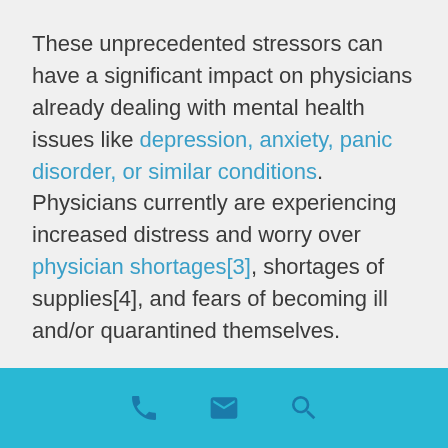These unprecedented stressors can have a significant impact on physicians already dealing with mental health issues like depression, anxiety, panic disorder, or similar conditions. Physicians currently are experiencing increased distress and worry over physician shortages[3], shortages of supplies[4], and fears of becoming ill and/or quarantined themselves.
Organizational psychologist Adam Grant, in a piece in The New York Times, also
phone | email | search